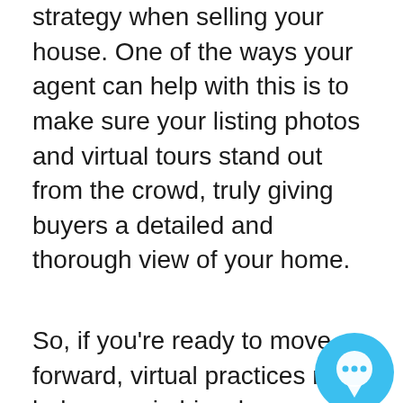strategy when selling your house. One of the ways your agent can help with this is to make sure your listing photos and virtual tours stand out from the crowd, truly giving buyers a detailed and thorough view of your home.
So, if you're ready to move forward, virtual practices may help you win big when you're ready to sell. While abiding by state and local regulations is a top priority, a real estate agent can help make your sale happen. Agents know exactly what today's buyers need, and how to put the necessary digital steps in place. For example, according to the same survey, when asked to select what technology would be most helpful when deciding on a new home, here's what today's homebuyers said, in order of
[Figure (illustration): Blue circular chat bubble icon in bottom right corner]